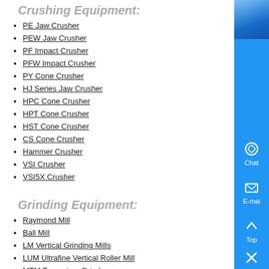Crushing Equipment:
PE Jaw Crusher
PEW Jaw Crusher
PF Impact Crusher
PFW Impact Crusher
PY Cone Crusher
HJ Series Jaw Crusher
HPC Cone Crusher
HPT Cone Crusher
HST Cone Crusher
CS Cone Crusher
Hammer Crusher
VSI Crusher
VSI5X Crusher
Grinding Equipment:
Raymond Mill
Ball Mill
LM Vertical Grinding Mills
LUM Ultrafine Vertical Roller Mill
MTM Trapezium Grinder
MTW Milling Machine